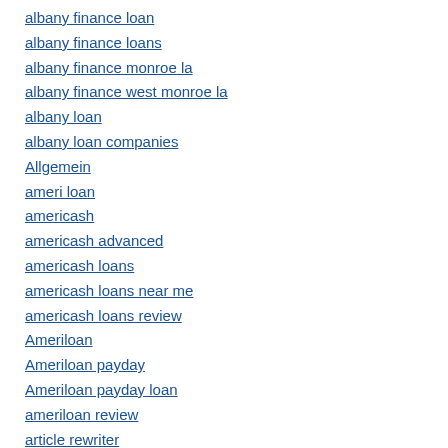albany finance loan
albany finance loans
albany finance monroe la
albany finance west monroe la
albany loan
albany loan companies
Allgemein
ameri loan
americash
americash advanced
americash loans
americash loans near me
americash loans review
Ameriloan
Ameriloan payday
Ameriloan payday loan
ameriloan review
article rewriter
article rewriter tools